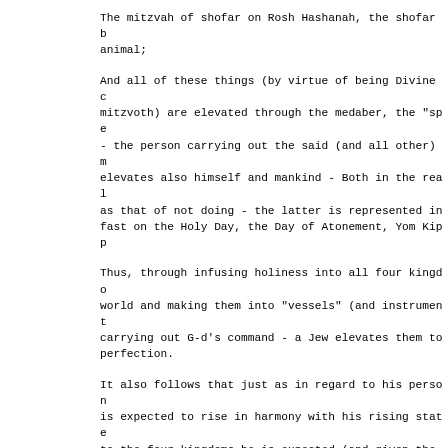The mitzvah of shofar on Rosh Hashanah, the shofar b
animal;
And all of these things (by virtue of being Divine c
mitzvoth) are elevated through the medaber, the "spe
- the person carrying out the said (and all other) m
elevates also himself and mankind - Both in the real
as that of not doing - the latter is represented in 
fast on the Holy Day, the Day of Atonement, Yom Kipp
Thus, through infusing holiness into all four kingdo
world and making them into "vessels" (and instrument
carrying out G-d's command - a Jew elevates them to 
perfection.
It also follows that just as in regard to his person
is expected to rise in harmony with his rising state
to the four kingdoms he is expected (and given the a
from time to time, the state of perfection to which 
explained above) - both quantitatively and qualitati
of doing the mitzvoth (where there can be grades of 
acceptable post facto; good to begin with; according
opinion; with enhancement, etc.) and their inner con
Taking into account the assurance that G-d does not 
being anything beyond his capacity, it is certain th
the fact that only a few days remain until the concl
everyone, man or woman, can achieve utmost perfectio
aforesaid endeavors, according to the expression of 
"beyond their natural limits" in all the